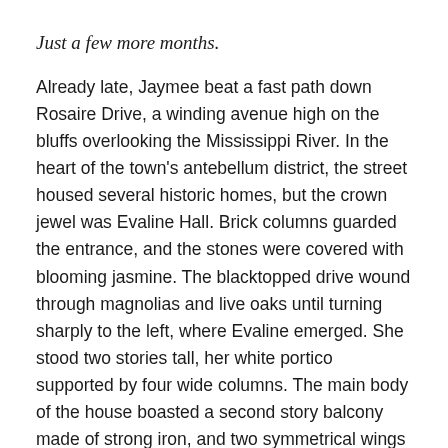Just a few more months.
Already late, Jaymee beat a fast path down Rosaire Drive, a winding avenue high on the bluffs overlooking the Mississippi River. In the heart of the town's antebellum district, the street housed several historic homes, but the crown jewel was Evaline Hall. Brick columns guarded the entrance, and the stones were covered with blooming jasmine. The blacktopped drive wound through magnolias and live oaks until turning sharply to the left, where Evaline emerged. She stood two stories tall, her white portico supported by four wide columns. The main body of the house boasted a second story balcony made of strong iron, and two symmetrical wings made the mansion as imposing as she was beautiful.
Part of Evaline was open for tourists, but the house was